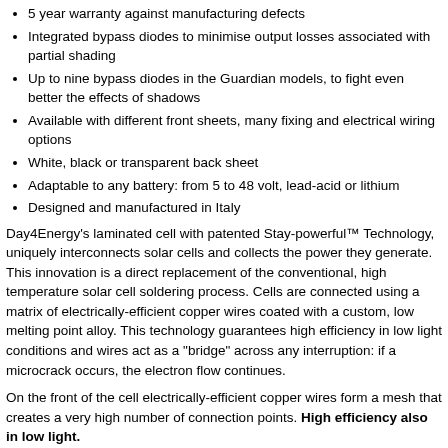5 year warranty against manufacturing defects
Integrated bypass diodes to minimise output losses associated with partial shading
Up to nine bypass diodes in the Guardian models, to fight even better the effects of shadows
Available with different front sheets, many fixing and electrical wiring options
White, black or transparent back sheet
Adaptable to any battery: from 5 to 48 volt, lead-acid or lithium
Designed and manufactured in Italy
Day4Energy's laminated cell with patented Stay-powerful™ Technology, uniquely interconnects solar cells and collects the power they generate. This innovation is a direct replacement of the conventional, high temperature solar cell soldering process. Cells are connected using a matrix of electrically-efficient copper wires coated with a custom, low melting point alloy. This technology guarantees high efficiency in low light conditions and wires act as a "bridge" across any interruption: if a microcrack occurs, the electron flow continues.
On the front of the cell electrically-efficient copper wires form a mesh that creates a very high number of connection points. High efficiency also in low light.